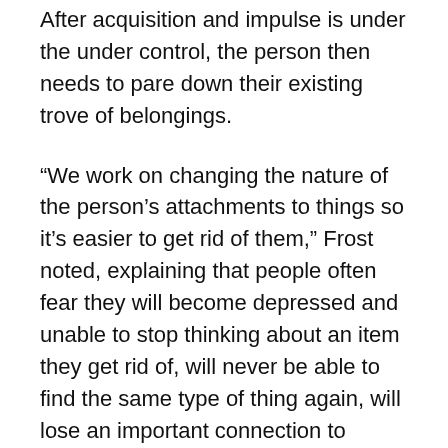After acquisition and impulse is under the under control, the person then needs to pare down their existing trove of belongings.
“We work on changing the nature of the person’s attachments to things so it’s easier to get rid of them,” Frost noted, explaining that people often fear they will become depressed and unable to stop thinking about an item they get rid of, will never be able to find the same type of thing again, will lose an important connection to someone in their life, or will be responsible for harm coming to the object.
“So, we turn them into scientists whose goal is to discover whether their beliefs are true,” Frost said, noting that some clients get rid of one item, then keep track of what their life is like afterward.